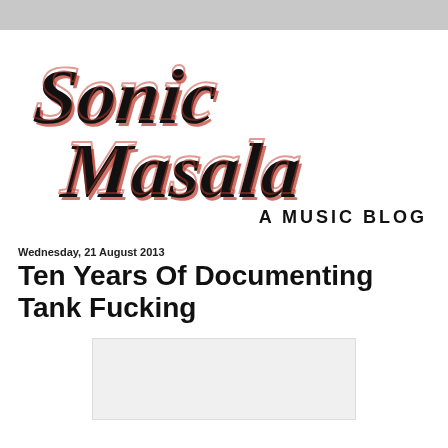[Figure (logo): Sonic Masala — A Music Blog logo in stylized black script lettering with red accent lines]
Wednesday, 21 August 2013
Ten Years Of Documenting Tank Fucking
[Figure (photo): Partially visible image placeholder / embedded image at bottom of page]